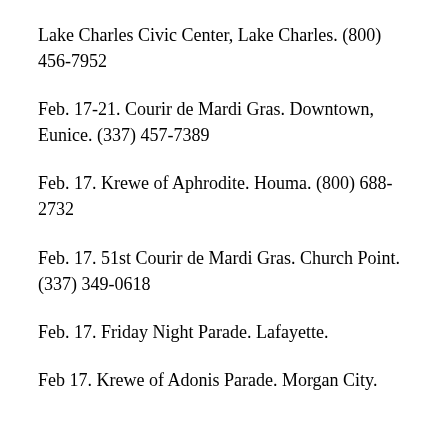Lake Charles Civic Center, Lake Charles. (800) 456-7952
Feb. 17-21. Courir de Mardi Gras. Downtown, Eunice. (337) 457-7389
Feb. 17. Krewe of Aphrodite. Houma. (800) 688-2732
Feb. 17. 51st Courir de Mardi Gras. Church Point. (337) 349-0618
Feb. 17. Friday Night Parade. Lafayette.
Feb 17. Krewe of Adonis Parade. Morgan City.